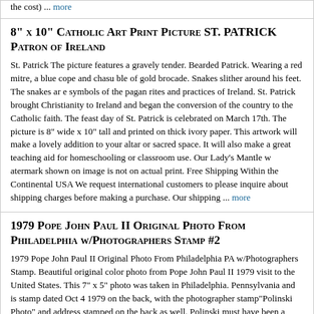the cost) ... more
8" x 10" Catholic Art Print Picture ST. PATRICK Patron of Ireland
St. Patrick The picture features a gravely tender. Bearded Patrick. Wearing a red mitre, a blue cope and chasu ble of gold brocade. Snakes slither around his feet. The snakes ar e symbols of the pagan rites and practices of Ireland. St. Patrick brought Christianity to Ireland and began the conversion of the country to the Catholic faith. The feast day of St. Patrick is celebrated on March 17th. The picture is 8" wide x 10" tall and printed on thick ivory paper. This artwork will make a lovely addition to your altar or sacred space. It will also make a great teaching aid for homeschooling or classroom use. Our Lady's Mantle w atermark shown on image is not on actual print. Free Shipping Within the Continental USA We request international customers to please inquire about shipping charges before making a purchase. Our shipping ... more
1979 Pope John Paul II Original Photo From Philadelphia w/Photographers Stamp #2
1979 Pope John Paul II Original Photo From Philadelphia PA w/Photographers Stamp. Beautiful original color photo from Pope John Paul II 1979 visit to the United States. This 7" x 5" photo was taken in Philadelphia. Pennsylvania and is stamp dated Oct 4 1979 on the back, with the photographer stamp"Polinski Photo" and address stamped on the back as well. Polinski must have been a photographer with credentials to have such close access to the Pope and get a shot so close. The photo has two light creases, and a tiny thumb tack hole at the